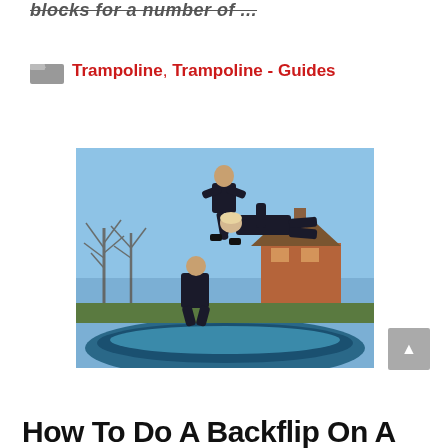blocks for a number of ...
Trampoline, Trampoline - Guides
[Figure (photo): Two people performing backflips on a trampoline in a backyard, with bare trees and a brick house in the background.]
How To Do A Backflip On A